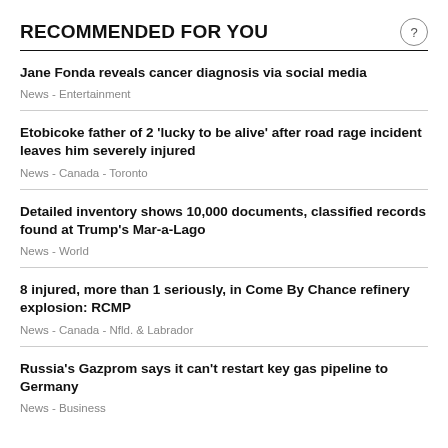RECOMMENDED FOR YOU
Jane Fonda reveals cancer diagnosis via social media
News  -  Entertainment
Etobicoke father of 2 'lucky to be alive' after road rage incident leaves him severely injured
News  -  Canada  -  Toronto
Detailed inventory shows 10,000 documents, classified records found at Trump's Mar-a-Lago
News  -  World
8 injured, more than 1 seriously, in Come By Chance refinery explosion: RCMP
News  -  Canada  -  Nfld. & Labrador
Russia's Gazprom says it can't restart key gas pipeline to Germany
News  -  Business